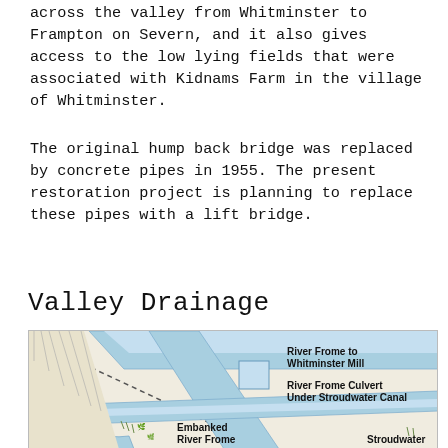across the valley from Whitminster to Frampton on Severn, and it also gives access to the low lying fields that were associated with Kidnams Farm in the village of Whitminster.
The original hump back bridge was replaced by concrete pipes in 1955. The present restoration project is planning to replace these pipes with a lift bridge.
Valley Drainage
[Figure (map): A map diagram showing valley drainage features including River Frome to Whitminster Mill, River Frome Culvert Under Stroudwater Canal, Embanked River Frome, and Stroudwater canal. Blue-colored water channels are shown with dashed path lines and labeled features.]